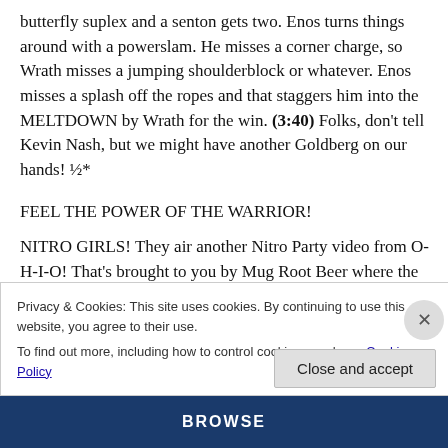butterfly suplex and a senton gets two. Enos turns things around with a powerslam. He misses a corner charge, so Wrath misses a jumping shoulderblock or whatever. Enos misses a splash off the ropes and that staggers him into the MELTDOWN by Wrath for the win. (3:40) Folks, don't tell Kevin Nash, but we might have another Goldberg on our hands! ½*
FEEL THE POWER OF THE WARRIOR!
NITRO GIRLS! They air another Nitro Party video from O-H-I-O! That's brought to you by Mug Root Beer where the
Privacy & Cookies: This site uses cookies. By continuing to use this website, you agree to their use.
To find out more, including how to control cookies, see here: Cookie Policy
Close and accept